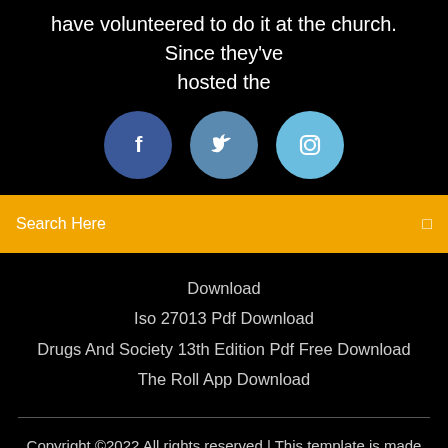have volunteered to do it at the church. Since they've hosted the
[Figure (infographic): Three social media icons in circles: Facebook (dark blue), Twitter (medium blue), Instagram (light blue)]
Search Here
Download
Iso 27013 Pdf Download
Drugs And Society 13th Edition Pdf Free Download
The Roll App Download
Copyright ©2022 All rights reserved | This template is made with ♡ by Colorlib